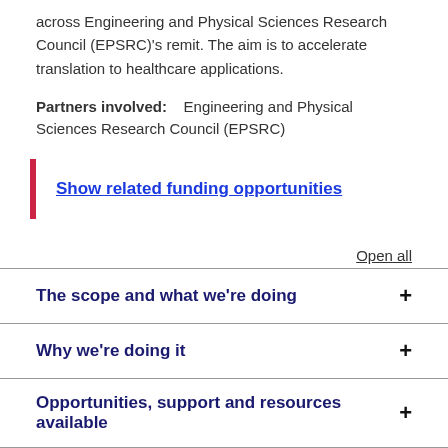across Engineering and Physical Sciences Research Council (EPSRC)'s remit. The aim is to accelerate translation to healthcare applications.
Partners involved:    Engineering and Physical Sciences Research Council (EPSRC)
Show related funding opportunities
Open all
The scope and what we're doing
Why we're doing it
Opportunities, support and resources available
Past projects, outcomes and impact